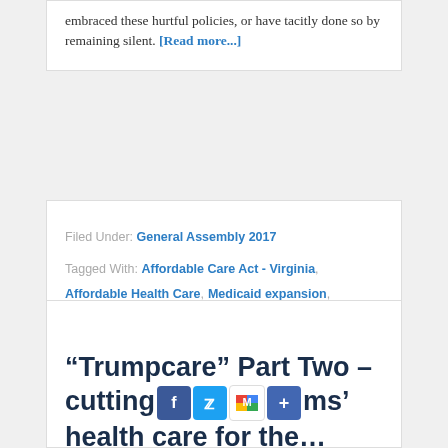embraced these hurtful policies, or have tacitly done so by remaining silent. [Read more...]
Filed Under: General Assembly 2017
Tagged With: Affordable Care Act - Virginia, Affordable Health Care, Medicaid expansion, Virginia budget
“Trumpcare” Part Two – cutting firms’ health care for the…